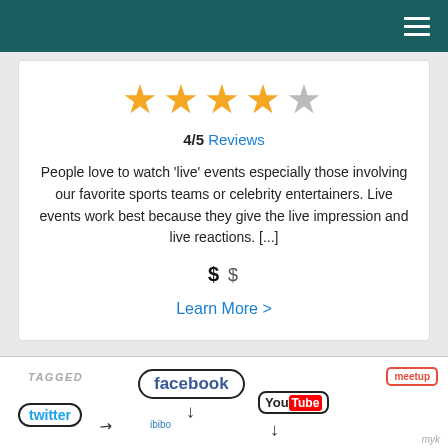[Figure (screenshot): Dark teal header navigation bar with hamburger menu icon on the right]
[Figure (infographic): Rating card showing 4 out of 5 stars (4 gold, 1 grey), 4/5 Reviews link, a review excerpt about live events, price indicator $$, and Learn More link]
[Figure (infographic): Social media logos image at bottom: TAGGED, facebook, twitter, ibibo, YouTube, meetup, and other social network logos with arrows]